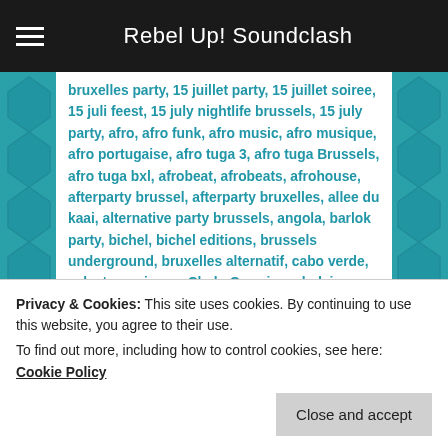Rebel Up! Soundclash
bruxelles party, 15 juillet party, 15 juillet soiree, 15 juli feest, 15 july nightlife brussels, 15 july party, afro, afro funk, afro music, afro musique, afro portugaise, afro tuga 3, afro tuga Brussels, afro tuga bxl, afrobeat, afrobeats, afrohouse, afterparty brussel, afterparty bruxelles, allee du kaai, alternative party brussels, angola, barlok party, bichel, bichel editions, brussels underground, bruxelles alternatif, cabo verde, celeste mariposa, Chalo Correia, coladeira, conjunto contratempo, dance party, electro bruxelles, funana, funk, funk bruxelles, groove bruxelles, hiphop, kizomba, lilocox, lisboa, lisbon music, lisbon techno, lusophone music, lx beats, maboku, marfox, Mediatheque mariniers, nervoso, NGHE, NGHE afro tuga, NGHE Mediatheque, nghe party, nigga fox, os pddg,
Privacy & Cookies: This site uses cookies. By continuing to use this website, you agree to their use.
To find out more, including how to control cookies, see here: Cookie Policy